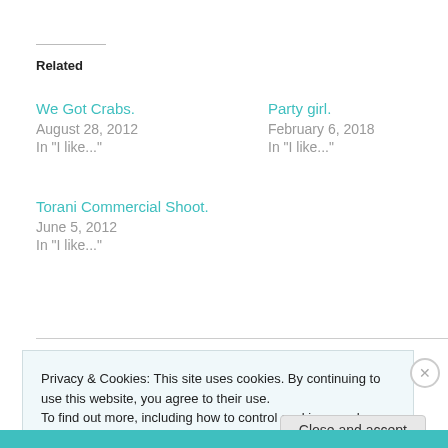Related
We Got Crabs.
August 28, 2012
In "I like..."
Party girl.
February 6, 2018
In "I like..."
Torani Commercial Shoot.
June 5, 2012
In "I like..."
Privacy & Cookies: This site uses cookies. By continuing to use this website, you agree to their use.
To find out more, including how to control cookies, see here: Cookie Policy
Close and accept